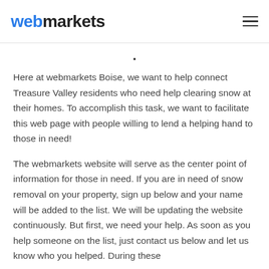webmarkets
.
Here at webmarkets Boise, we want to help connect Treasure Valley residents who need help clearing snow at their homes. To accomplish this task, we want to facilitate this web page with people willing to lend a helping hand to those in need!
The webmarkets website will serve as the center point of information for those in need. If you are in need of snow removal on your property, sign up below and your name will be added to the list. We will be updating the website continuously. But first, we need your help. As soon as you help someone on the list, just contact us below and let us know who you helped. During these